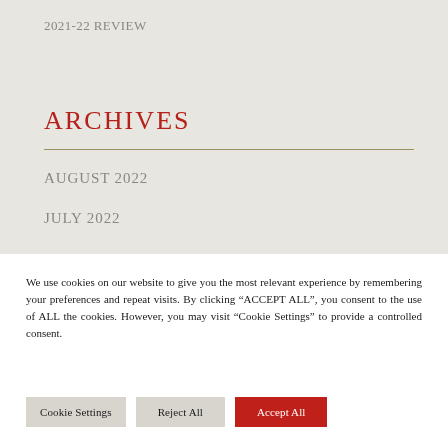2021-22 REVIEW
ARCHIVES
AUGUST 2022
JULY 2022
We use cookies on our website to give you the most relevant experience by remembering your preferences and repeat visits. By clicking “ACCEPT ALL”, you consent to the use of ALL the cookies. However, you may visit “Cookie Settings” to provide a controlled consent.
Cookie Settings | Reject All | Accept All